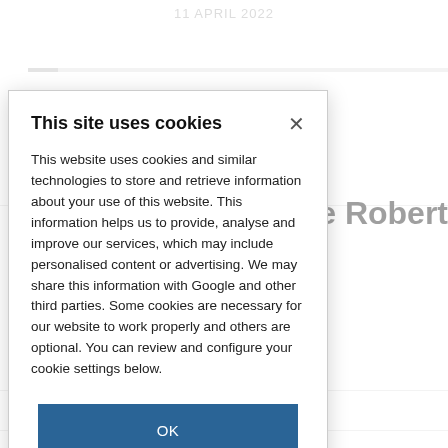11 APRIL 2022
ureate Robert
ureate Ei-ichi
ureate Richard
This site uses cookies
This website uses cookies and similar technologies to store and retrieve information about your use of this website. This information helps us to provide, analyse and improve our services, which may include personalised content or advertising. We may share this information with Google and other third parties. Some cookies are necessary for our website to work properly and others are optional. You can review and configure your cookie settings below.
OK
COOKIE SETTINGS